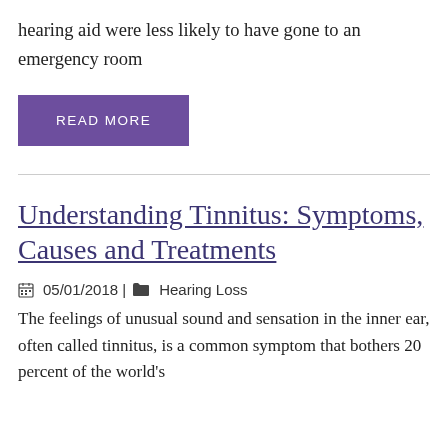hearing aid were less likely to have gone to an emergency room
READ MORE
Understanding Tinnitus: Symptoms, Causes and Treatments
05/01/2018 | Hearing Loss
The feelings of unusual sound and sensation in the inner ear, often called tinnitus, is a common symptom that bothers 20 percent of the world's